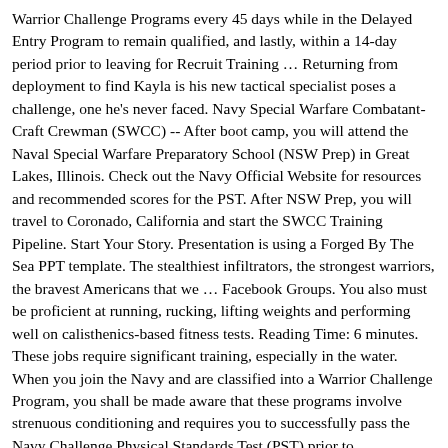Warrior Challenge Programs every 45 days while in the Delayed Entry Program to remain qualified, and lastly, within a 14-day period prior to leaving for Recruit Training … Returning from deployment to find Kayla is his new tactical specialist poses a challenge, one he's never faced. Navy Special Warfare Combatant-Craft Crewman (SWCC) -- After boot camp, you will attend the Naval Special Warfare Preparatory School (NSW Prep) in Great Lakes, Illinois. Check out the Navy Official Website for resources and recommended scores for the PST. After NSW Prep, you will travel to Coronado, California and start the SWCC Training Pipeline. Start Your Story. Presentation is using a Forged By The Sea PPT template. The stealthiest infiltrators, the strongest warriors, the bravest Americans that we … Facebook Groups. You also must be proficient at running, rucking, lifting weights and performing well on calisthenics-based fitness tests. Reading Time: 6 minutes. These jobs require significant training, especially in the water. When you join the Navy and are classified into a Warrior Challenge Program, you shall be made aware that these programs involve strenuous conditioning and requires you to successfully pass the Navy Challenge Physical Standards Test (PST) prior to classification into your specific rating. But far too often, New Year's Resolutions unravel, and people settle into their old habits. Published: 07Apr19. 5 Big Mistakes Troops Make During PT Test Training, This Full-Body Workout Features a Mix of Volume, Cardio and Strength. Conduct offense classifications and